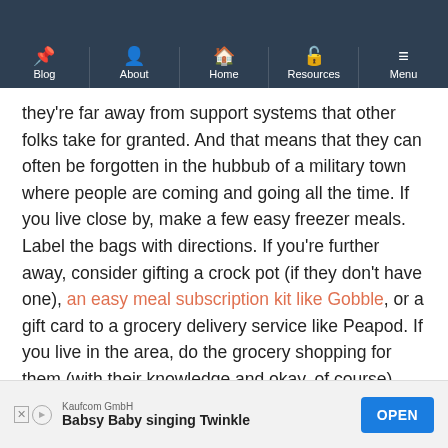Blog | About | Home | Resources | Menu
dealing with deployment or not, military life is hard. (Often military families are far away from their families and hometown friends... which means they're far away from support systems that other folks take for granted. And that means that they can often be forgotten in the hubbub of a military town where people are coming and going all the time. If you live close by, make a few easy freezer meals. Label the bags with directions. If you're further away, consider gifting a crock pot (if they don't have one), an easy meal subscription kit like Gobble, or a gift card to a grocery delivery service like Peapod. If you live in the area, do the grocery shopping for them (with their knowledge and okay, of course).
[Figure (screenshot): Advertisement banner: Kaufcom GmbH - Babsy Baby singing Twinkle, with OPEN button]